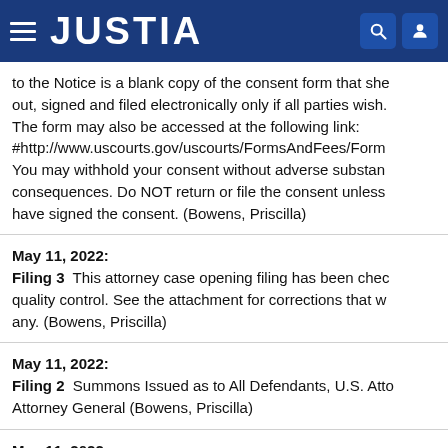JUSTIA
to the Notice is a blank copy of the consent form that she out, signed and filed electronically only if all parties wish. The form may also be accessed at the following link: #http://www.uscourts.gov/uscourts/FormsAndFees/Form You may withhold your consent without adverse substan consequences. Do NOT return or file the consent unless have signed the consent. (Bowens, Priscilla)
May 11, 2022: Filing 3 This attorney case opening filing has been chec quality control. See the attachment for corrections that w any. (Bowens, Priscilla)
May 11, 2022: Filing 2 Summons Issued as to All Defendants, U.S. Atto Attorney General (Bowens, Priscilla)
May 11, 2022: